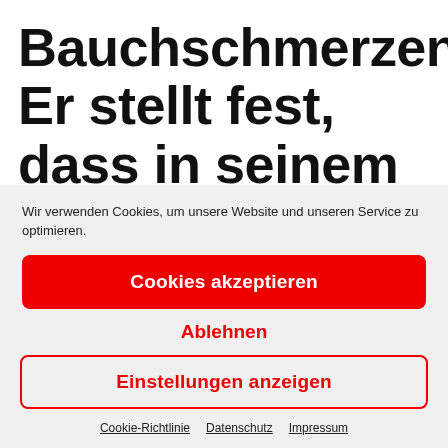Bauchschmerzen. Er stellt fest, dass in seinem Bauch eine tickende Zeitbombe wächst, die er zunächst
Wir verwenden Cookies, um unsere Website und unseren Service zu optimieren.
Cookies akzeptieren
Ablehnen
Einstellungen anzeigen
Cookie-Richtlinie   Datenschutz   Impressum